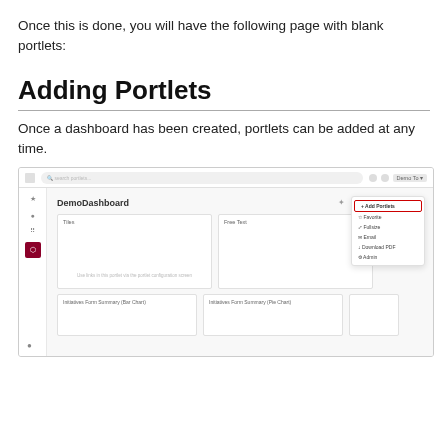Once this is done, you will have the following page with blank portlets:
Adding Portlets
Once a dashboard has been created, portlets can be added at any time.
[Figure (screenshot): Screenshot of a dashboard UI called DemoDashboard showing blank portlet cards (Tiles, Free Text, Initiatives Form Summary Bar Chart, Initiatives Form Summary Pie Chart) with a dropdown menu open on the right showing options: Add Portlets (highlighted in red border), Favorite, Fullsize, Email, Download PDF, Admin]